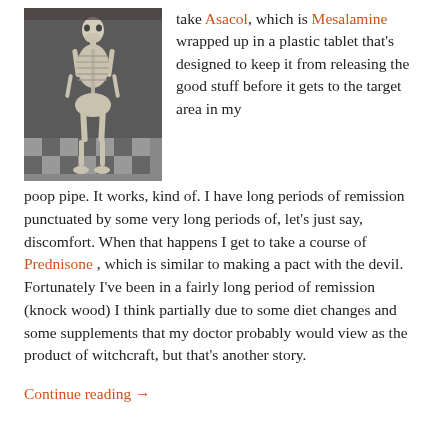[Figure (photo): Black and white photograph of a human skeleton standing upright in what appears to be an interior room with a checkered floor.]
take Asacol, which is Mesalamine wrapped up in a plastic tablet that's designed to keep it from releasing the good stuff before it gets to the target area in my poop pipe. It works, kind of. I have long periods of remission punctuated by some very long periods of, let's just say, discomfort. When that happens I get to take a course of Prednisone , which is similar to making a pact with the devil. Fortunately I've been in a fairly long period of remission (knock wood) I think partially due to some diet changes and some supplements that my doctor probably would view as the product of witchcraft, but that's another story.
Continue reading →